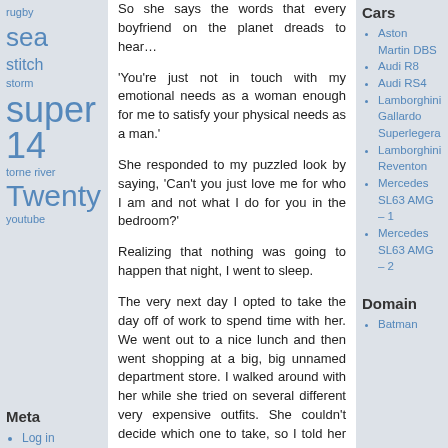rugby
sea
stitch
storm
super 14
torne river
Twenty
youtube
Meta
Log in
Entries feed
WordPre
Pages
About
So she says the words that every boyfriend on the planet dreads to hear…
'You're just not in touch with my emotional needs as a woman enough for me to satisfy your physical needs as a man.'
She responded to my puzzled look by saying, 'Can't you just love me for who I am and not what I do for you in the bedroom?'
Realizing that nothing was going to happen that night, I went to sleep.
The very next day I opted to take the day off of work to spend time with her. We went out to a nice lunch and then went shopping at a big, big unnamed department store. I walked around with her while she tried on several different very expensive outfits. She couldn't decide which one to take, so I told her we'd just buy them all. She wanted new shoes to compliment her new clothes, so I said, 'Lets get a pair for each outfit.'
We went on to the jewelery
Cars
Aston Martin DBS
Audi R8
Audi RS4
Lamborghini Gallardo Superlegera
Lamborghini Reventon
Mercedes SL63 AMG – 1
Mercedes SL63 AMG – 2
Domain
Batman